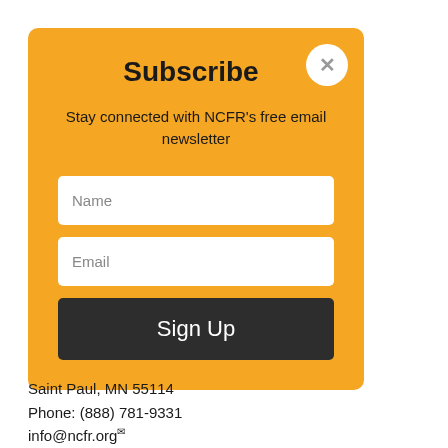Subscribe
Stay connected with NCFR's free email newsletter
Name
Email
Sign Up
Saint Paul, MN 55114
Phone: (888) 781-9331
info@ncfr.org
Terms & Conditions  |  Privacy Policy